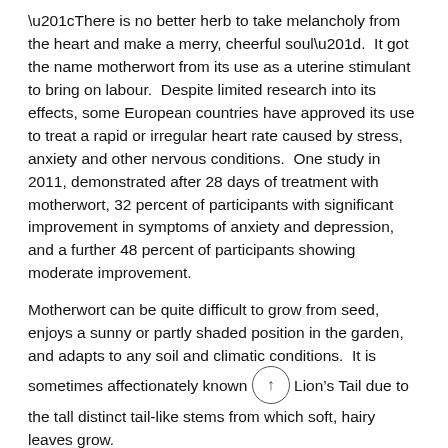“There is no better herb to take melancholy from the heart and make a merry, cheerful soul”.  It got the name motherwort from its use as a uterine stimulant to bring on labour.  Despite limited research into its effects, some European countries have approved its use to treat a rapid or irregular heart rate caused by stress, anxiety and other nervous conditions.  One study in 2011, demonstrated after 28 days of treatment with motherwort, 32 percent of participants with significant improvement in symptoms of anxiety and depression, and a further 48 percent of participants showing moderate improvement.
Motherwort can be quite difficult to grow from seed, enjoys a sunny or partly shaded position in the garden, and adapts to any soil and climatic conditions.  It is sometimes affectionately known Lion’s Tail due to the tall distinct tail-like stems from which soft, hairy leaves grow.